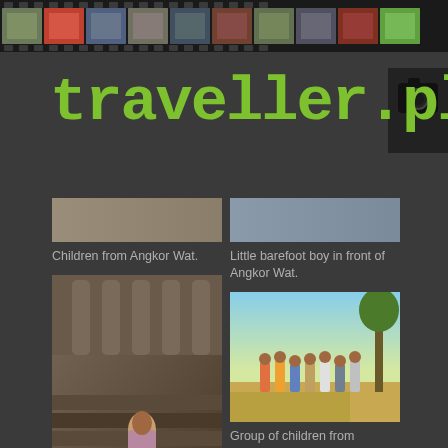[Figure (photo): Film strip at top with multiple travel thumbnail photos on dark background with film perforations]
traveller.pl
[Figure (photo): Small placeholder image - Children from Angkor Wat]
Children from Angkor Wat.
[Figure (photo): Small placeholder image - Little barefoot boy in front of Angkor Wat]
Little barefoot boy in front of Angkor Wat.
[Figure (photo): Main photo of a boy sitting on stone steps at Angkor Wat temple]
[Figure (photo): Group of children standing along a road near Angkor area]
Group of children from Angkor area.